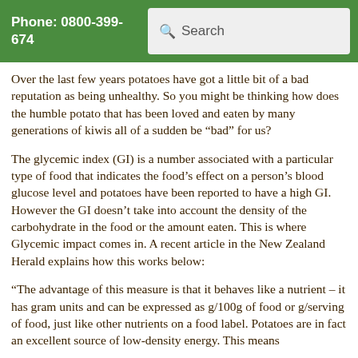Phone: 0800-399-674  Search
Over the last few years potatoes have got a little bit of a bad reputation as being unhealthy.  So you might be thinking how does the humble potato that has been loved and eaten by many generations of kiwis all of a sudden be “bad” for us?
The glycemic index (GI) is a number associated with a particular type of food that indicates the food’s effect on a person’s blood glucose level and potatoes have been reported to have a high GI.  However the GI doesn’t take into account the density of the carbohydrate in the food or the amount eaten. This is where Glycemic impact comes in. A recent article in the New Zealand Herald explains how this works below:
“The advantage of this measure is that it behaves like a nutrient – it has gram units and can be expressed as g/100g of food or g/serving of food, just like other nutrients on a food label. Potatoes are in fact an excellent source of low-density energy. This means